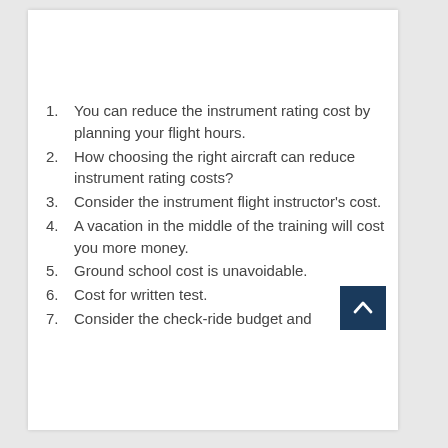1. You can reduce the instrument rating cost by planning your flight hours.
2. How choosing the right aircraft can reduce instrument rating costs?
3. Consider the instrument flight instructor’s cost.
4. A vacation in the middle of the training will cost you more money.
5. Ground school cost is unavoidable.
6. Cost for written test.
7. Consider the check-ride budget and